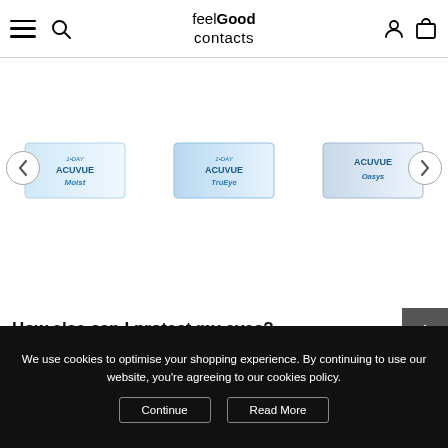feelGood contacts — navigation header with hamburger menu, search, user account and cart icons
[Figure (photo): Carousel of three ACUVUE contact lens product boxes: 1-Day ACUVUE Moist, 1-Day ACUVUE TruEye, and ACUVUE Oasys, with left and right navigation arrows]
How else can I protect my eyes?
We use cookies to optimise your shopping experience. By continuing to use our website, you're agreeing to our cookies policy.
Continue   Read More